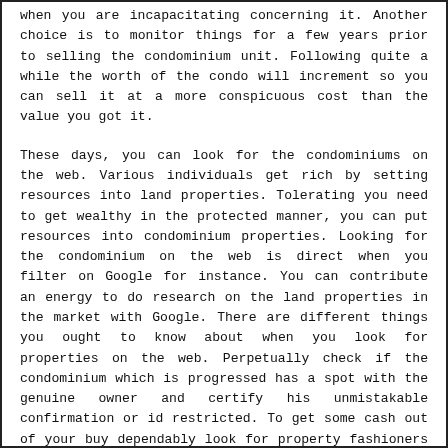when you are incapacitating concerning it. Another choice is to monitor things for a few years prior to selling the condominium unit. Following quite a while the worth of the condo will increment so you can sell it at a more conspicuous cost than the value you got it.
These days, you can look for the condominiums on the web. Various individuals get rich by setting resources into land properties. Tolerating you need to get wealthy in the protected manner, you can put resources into condominium properties. Looking for the condominium on the web is direct when you filter on Google for instance. You can contribute an energy to do research on the land properties in the market with Google. There are different things you ought to know about when you look for properties on the web. Perpetually check if the condominium which is progressed has a spot with the genuine owner and certify his unmistakable confirmation or id restricted. To get some cash out of your buy dependably look for property fashioners which fostered the condominiums. Do a little individual affirmation to perceive how long the affiliation is good to go and the